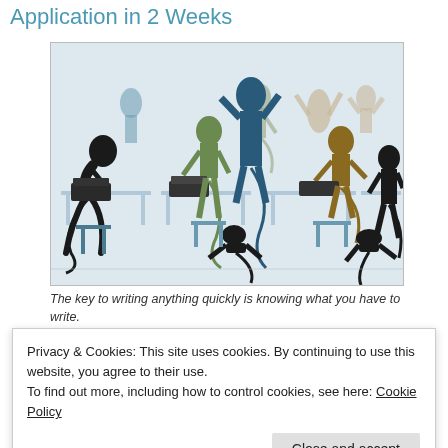Application in 2 Weeks
[Figure (illustration): Colorful silhouettes of monkeys and humans sitting at desks with typewriters, in various poses. Some are typing diligently, others are celebrating or distracted. Colors include black, olive, blue, tan, and teal.]
The key to writing anything quickly is knowing what you have to write.
Privacy & Cookies: This site uses cookies. By continuing to use this website, you agree to their use.
To find out more, including how to control cookies, see here: Cookie Policy
Close and accept